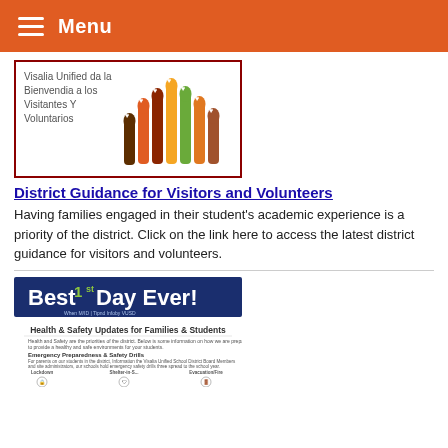Menu
[Figure (illustration): Visalia Unified da la Bienvendia a los Visitantes Y Voluntarios - illustration of colorful hands raised]
District Guidance for Visitors and Volunteers
Having families engaged in their student's academic experience is a priority of the district. Click on the link here to access the latest district guidance for visitors and volunteers.
[Figure (infographic): Best 1st Day Ever! Health & Safety Updates for Families & Students - infographic with Emergency Preparedness & Safety Drills]